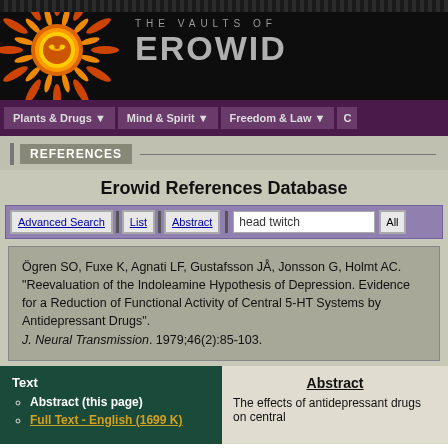[Figure (logo): Erowid website header with sun logo and 'THE VAULTS OF EROWID' text on black background]
Plants & Drugs | Mind & Spirit | Freedom & Law
REFERENCES
Erowid References Database
Advanced Search | List | Abstract | head twitch | All
Ögren SO, Fuxe K, Agnati LF, Gustafsson JÅ, Jonsson G, Holmt AC. "Reevaluation of the Indoleamine Hypothesis of Depression. Evidence for a Reduction of Functional Activity of Central 5-HT Systems by Antidepressant Drugs". J. Neural Transmission. 1979;46(2):85-103.
Text
Abstract (this page)
Full Text - English (1699 K)
Abstract
The effects of antidepressant drugs on central